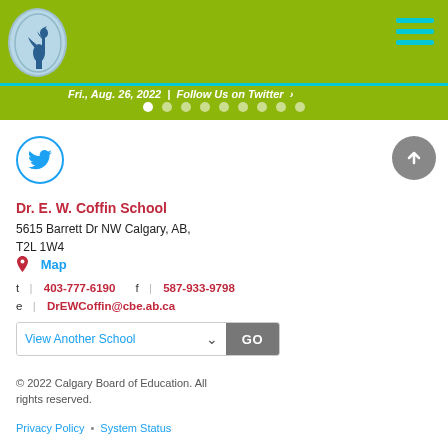Fri., Aug. 26, 2022 | Follow Us on Twitter ›
[Figure (screenshot): School website header with green banner, school logo oval, hamburger menu, teal divider, date/twitter bar, and carousel dots]
[Figure (logo): Twitter bird icon in a cyan-bordered circle]
Dr. E. W. Coffin School
5615 Barrett Dr NW Calgary, AB, T2L 1W4
Map
t | 403-777-6190    f | 587-933-9798
e | DrEWCoffin@cbe.ab.ca
View Another School   GO
© 2022 Calgary Board of Education. All rights reserved.
Privacy Policy • System Status